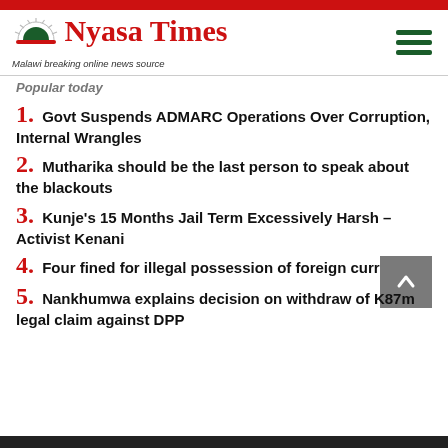Nyasa Times – Malawi breaking online news source
Popular today
1. Govt Suspends ADMARC Operations Over Corruption, Internal Wrangles
2. Mutharika should be the last person to speak about the blackouts
3. Kunje's 15 Months Jail Term Excessively Harsh – Activist Kenani
4. Four fined for illegal possession of foreign currency
5. Nankhumwa explains decision on withdraw of K87m legal claim against DPP